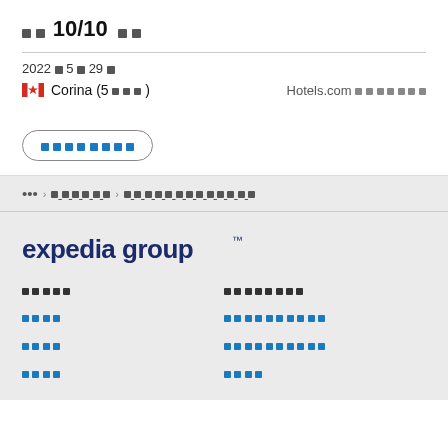□□ 10/10 □□
2022년5月29日
🇨🇦 Corina (5 □□□)
Hotels.com □□□□□□□
□□□□□□□□
... > □□□□□□ > □□□□□□□□□□□□□
[Figure (logo): expedia group logo in dark navy blue]
□□□□□
□□□
□□□
□□□
□□□□□□□□
□□□□□□□□□□
□□□□□□□□□□
□□□□